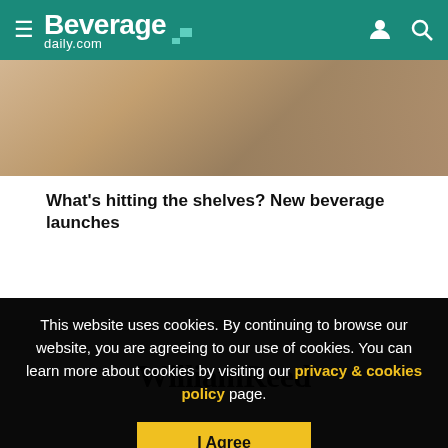BeverageDaily.com
[Figure (photo): Warm-toned blurred lifestyle photo, partial view of a person or interior setting]
What's hitting the shelves? New beverage launches
WilliamReed
This website uses cookies. By continuing to browse our website, you are agreeing to our use of cookies. You can learn more about cookies by visiting our privacy & cookies policy page.